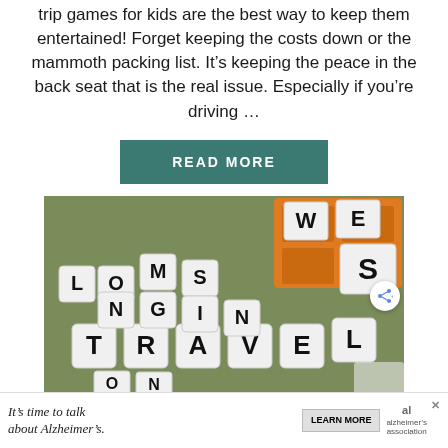trip games for kids are the best way to keep them entertained! Forget keeping the costs down or the mammoth packing list. It's keeping the peace in the back seat that is the real issue. Especially if you're driving …
READ MORE
[Figure (photo): Photo of letter dice scattered on a table spelling out words including TRAVEL, with an orange Scrabble-like tile tray in the background.]
It's time to talk about Alzheimer's. LEARN MORE